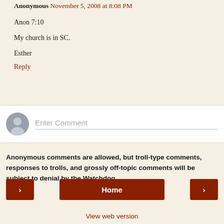Anonymous November 5, 2008 at 8:08 PM
Anon 7:10

My church is in SC.

Esther
Reply
[Figure (screenshot): Comment input area with avatar icon and 'Enter Comment' placeholder text field]
Anonymous comments are allowed, but troll-type comments, responses to trolls, and grossly off-topic comments will be subject to denial by the Watchdog.
< Home > View web version